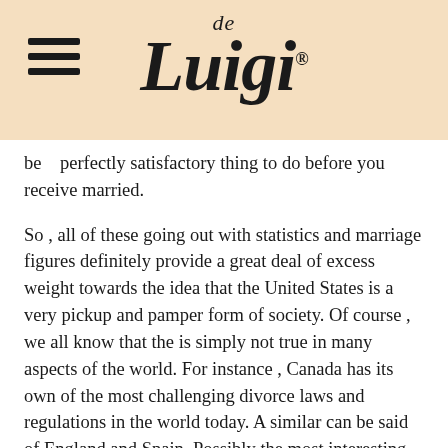[Figure (logo): de Luigi logo with hamburger menu icon on a beige/peach background]
be perfectly satisfactory thing to do before you receive married.
So , all of these going out with statistics and marriage figures definitely provide a great deal of excess weight towards the idea that the United States is a very pickup and pamper form of society. Of course , we all know that the is simply not true in many aspects of the world. For instance , Canada has its own of the most challenging divorce laws and regulations in the world today. A similar can be said of England and Spain. Possibly the most interesting study about dating and marriage was conducted by social psychology today plus the study was entitled “The State of Dating America”. In this review the author analyzed the various different aspects of dating in the us of Texas, Florida and North Carolina along with different towns in the better Los Angeles location.
Overall, plainly both men and women inside the greater